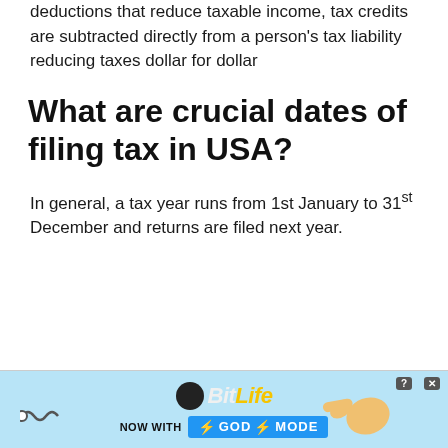deductions that reduce taxable income, tax credits are subtracted directly from a person's tax liability reducing taxes dollar for dollar
What are crucial dates of filing tax in USA?
In general, a tax year runs from 1st January to 31st December and returns are filed next year.
[Figure (other): Advertisement banner for BitLife game with 'NOW WITH GOD MODE' text and a hand pointing illustration on blue background]